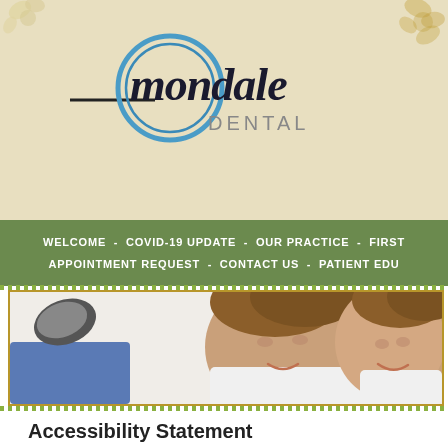[Figure (logo): Mondale Dental logo with blue circle and horizontal line]
WELCOME - COVID-19 UPDATE - OUR PRACTICE - FIRST APPOINTMENT REQUEST - CONTACT US - PATIENT EDU
[Figure (photo): Two smiling young boys in white shirts, one with shoe visible, photographed against white background]
Accessibility Statement